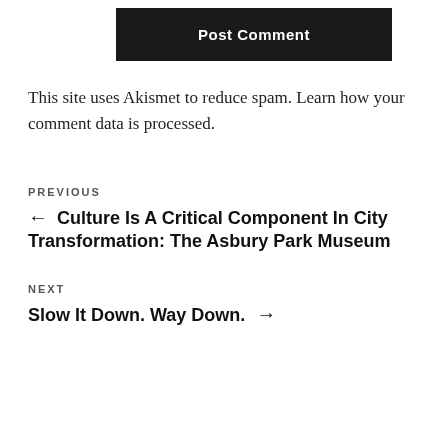Post Comment
This site uses Akismet to reduce spam. Learn how your comment data is processed.
PREVIOUS
← Culture Is A Critical Component In City Transformation: The Asbury Park Museum
NEXT
Slow It Down. Way Down. →